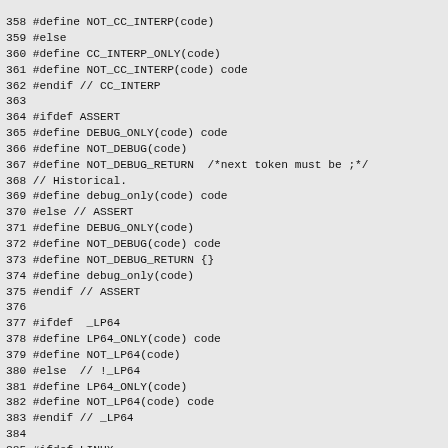358 #define NOT_CC_INTERP(code)
359 #else
360 #define CC_INTERP_ONLY(code)
361 #define NOT_CC_INTERP(code) code
362 #endif // CC_INTERP
363 
364 #ifdef ASSERT
365 #define DEBUG_ONLY(code) code
366 #define NOT_DEBUG(code)
367 #define NOT_DEBUG_RETURN  /*next token must be ;*/
368 // Historical.
369 #define debug_only(code) code
370 #else // ASSERT
371 #define DEBUG_ONLY(code)
372 #define NOT_DEBUG(code) code
373 #define NOT_DEBUG_RETURN {}
374 #define debug_only(code)
375 #endif // ASSERT
376 
377 #ifdef  _LP64
378 #define LP64_ONLY(code) code
379 #define NOT_LP64(code)
380 #else  // !_LP64
381 #define LP64_ONLY(code)
382 #define NOT_LP64(code) code
383 #endif // _LP64
384 
385 #ifdef LINUX
386 #define LINUX_ONLY(code) code
387 #define NOT_LINUX(code)
388 #else